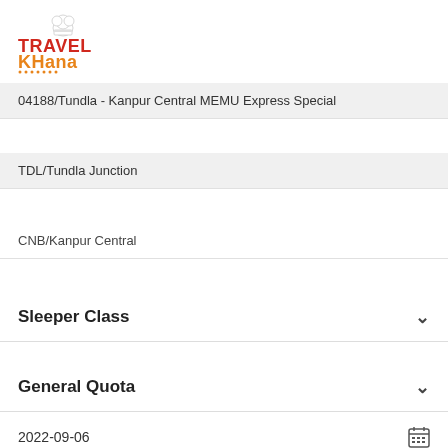[Figure (logo): TravelKhana logo with chef hat icon, red and orange text]
04188/Tundla - Kanpur Central MEMU Express Special
TDL/Tundla Junction
CNB/Kanpur Central
Sleeper Class
General Quota
2022-09-06